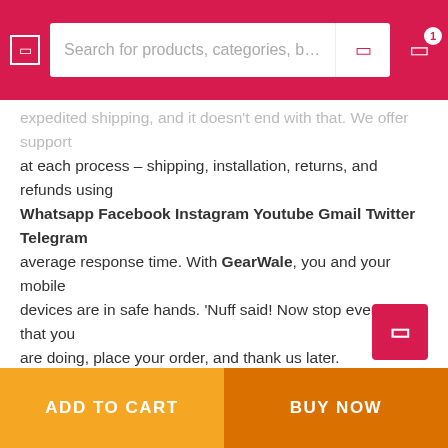Search for products, categories, bran
expedited shipping, and it doesn't end with that. We offer support at each process – shipping, installation, returns, and refunds using Whatsapp Facebook Instagram Youtube Gmail Twitter Telegram average response time. With GearWale, you and your mobile devices are in safe hands. 'Nuff said! Now stop everything that you are doing, place your order, and thank us later.
Samsung M31s Summary
REVIEWS (1)
ADD TO CART   BUY NOW